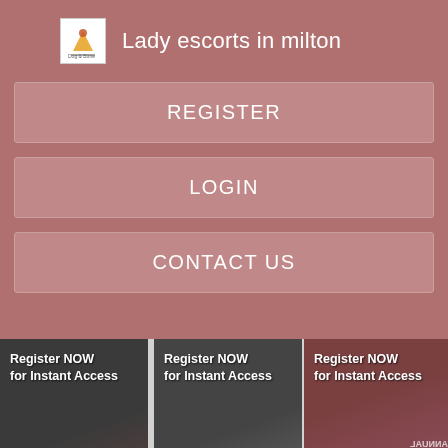Lady escorts in milton
REGISTER
LOGIN
CONTACT US
[Figure (screenshot): Three thumbnail cards each showing 'Register NOW for Instant Access' text over dark photos]
No negotations.
Choose a location